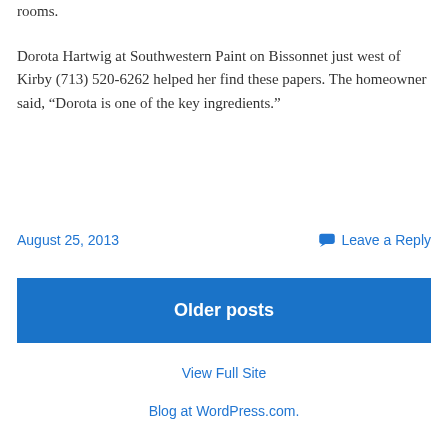rooms.
Dorota Hartwig at Southwestern Paint on Bissonnet just west of Kirby (713) 520-6262 helped her find these papers. The homeowner said, “Dorota is one of the key ingredients.”
August 25, 2013
Leave a Reply
Older posts
View Full Site
Blog at WordPress.com.